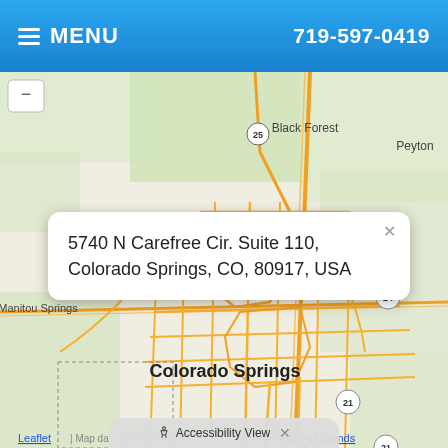MENU  719-597-0419
[Figure (map): Street map of Colorado Springs, CO area showing Black Forest to the north, Peyton to the northeast, Manitou Springs to the west, and Fountain to the south. A blue location pin marks a point in the north part of Colorado Springs. Roads shown in orange/tan on light green and beige background. Highway markers for routes 25, 24, and 21 visible.]
5740 N Carefree Cir. Suite 110, Colorado Springs, CO, 80917, USA
Leaflet | Map data provided by Internet Brands
Accessibility View